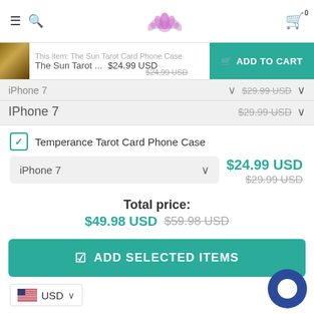Navigation header with hamburger menu, search, lotus logo, and cart (0)
This Item: The Sun Tarot Card Phone Case — The Sun Tarot ... $24.99 USD — ADD TO CART — $24.99 USD (was $29.99 USD)
IPhone 7 — $29.99 USD
✓ Temperance Tarot Card Phone Case
iPhone 7 — $24.99 USD (was $29.99 USD)
Total price: $49.98 USD $59.98 USD
ADD SELECTED ITEMS
USD